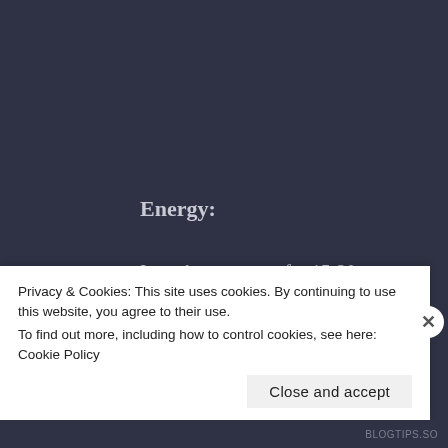Energy:
I ran the generator for 15-20 minutes to help prevent carburetor issues and make sure it will be good to go if it is ever needed. This is a recurring monthly task.
***
That's it for me. That's what I prepped this month
Privacy & Cookies: This site uses cookies. By continuing to use this website, you agree to their use.
To find out more, including how to control cookies, see here: Cookie Policy
Close and accept